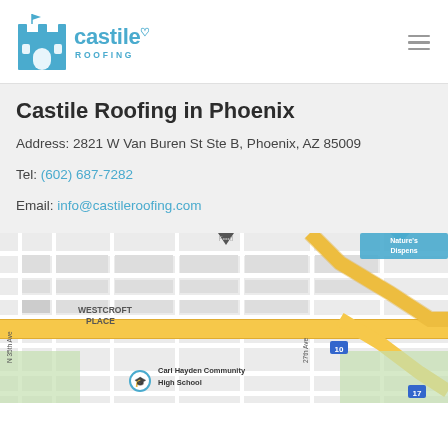Castile Roofing logo and navigation
Castile Roofing in Phoenix
Address: 2821 W Van Buren St Ste B, Phoenix, AZ 85009
Tel: (602) 687-7282
Email: info@castileroofing.com
[Figure (map): Google Maps view showing WESTCROFT PLACE neighborhood with W Van Buren St (yellow road), I-10 freeway interchange, Carl Hayden Community High School, N 35th Ave, 27th Ave, and a 'Nature's Dispens' label in upper right]